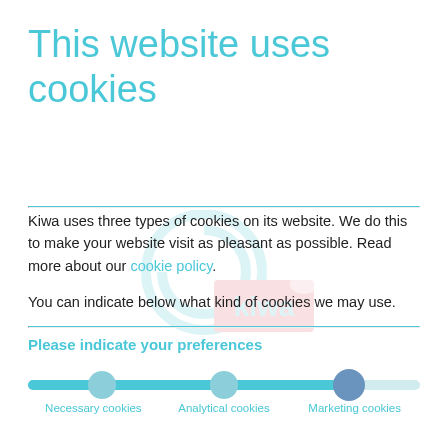This website uses cookies
Kiwa uses three types of cookies on its website. We do this to make your website visit as pleasant as possible. Read more about our cookie policy.

You can indicate below what kind of cookies we may use.
Please indicate your preferences
[Figure (other): A horizontal slider with three positions labeled Necessary cookies, Analytical cookies, and Marketing cookies. The slider handle is positioned at the Marketing cookies (rightmost) position, with the track filled from left to the handle in teal/cyan color.]